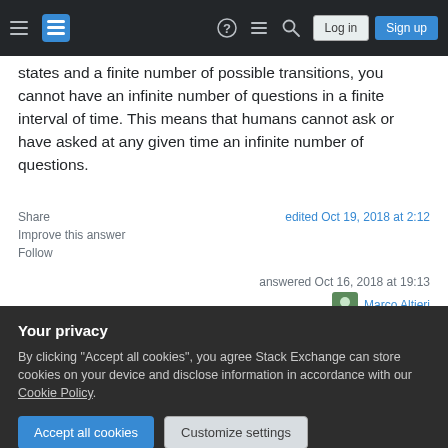Stack Exchange navigation bar with hamburger menu, logo, help, chat, search icons, Log in and Sign up buttons
states and a finite number of possible transitions, you cannot have an infinite number of questions in a finite interval of time. This means that humans cannot ask or have asked at any given time an infinite number of questions.
Share
Improve this answer
Follow
edited Oct 19, 2018 at 2:12
answered Oct 16, 2018 at 19:13
Marco Altieri
Your privacy
By clicking "Accept all cookies", you agree Stack Exchange can store cookies on your device and disclose information in accordance with our Cookie Policy.
Accept all cookies
Customize settings
"Does Alice know X?"